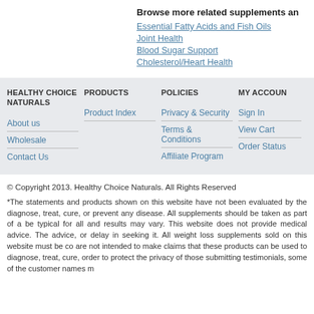Browse more related supplements an
Essential Fatty Acids and Fish Oils
Joint Health
Blood Sugar Support
Cholesterol/Heart Health
HEALTHY CHOICE NATURALS
About us
Wholesale
Contact Us
PRODUCTS
Product Index
POLICIES
Privacy & Security
Terms & Conditions
Affiliate Program
MY ACCOUN
Sign In
View Cart
Order Status
© Copyright 2013. Healthy Choice Naturals. All Rights Reserved
*The statements and products shown on this website have not been evaluated by the diagnose, treat, cure, or prevent any disease. All supplements should be taken as part of a be typical for all and results may vary. This website does not provide medical advice. The advice, or delay in seeking it. All weight loss supplements sold on this website must be co are not intended to make claims that these products can be used to diagnose, treat, cure, order to protect the privacy of those submitting testimonials, some of the customer names m